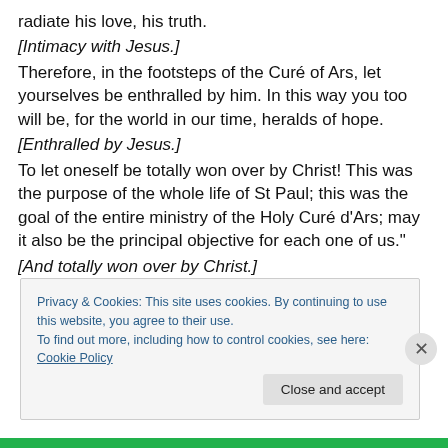radiate his love, his truth.
[Intimacy with Jesus.]
Therefore, in the footsteps of the Curé of Ars, let yourselves be enthralled by him. In this way you too will be, for the world in our time, heralds of hope.
[Enthralled by Jesus.]
To let oneself be totally won over by Christ! This was the purpose of the whole life of St Paul; this was the goal of the entire ministry of the Holy Curé d'Ars; may it also be the principal objective for each one of us."
[And totally won over by Christ.]
Privacy & Cookies: This site uses cookies. By continuing to use this website, you agree to their use.
To find out more, including how to control cookies, see here: Cookie Policy